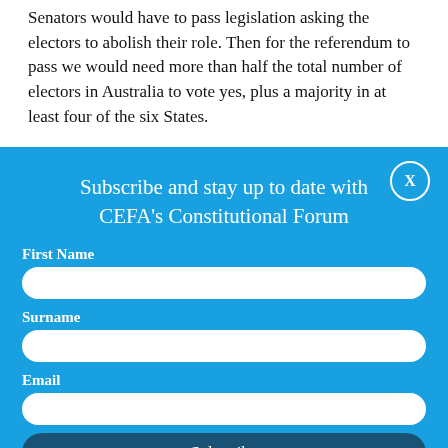Senators would have to pass legislation asking the electors to abolish their role. Then for the referendum to pass we would need more than half the total number of electors in Australia to vote yes, plus a majority in at least four of the six States.
Subscribe and stay up to date with CEFA's Constitutional Forum
First Name
Surname
Email
Subscribe